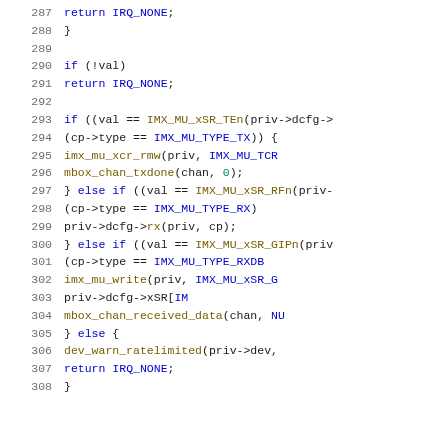[Figure (screenshot): Source code listing in a monospace code editor/viewer showing C code lines 287-307, with line numbers in gray on the left, keywords in blue, function names in gold/brown, and numeric literals in green.]